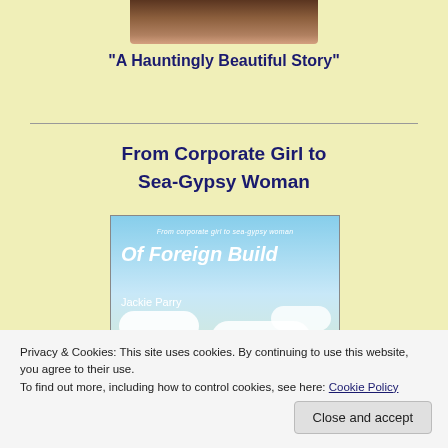[Figure (photo): Partial photo at top of page showing brown/tan tones, likely a horse or animal]
“A Hauntingly Beautiful Story”
From Corporate Girl to Sea-Gypsy Woman
[Figure (photo): Book cover of 'Of Foreign Build' by Jackie Parry - From corporate girl to sea-gypsy woman, showing sailboat rigging against blue sky with clouds]
Privacy & Cookies: This site uses cookies. By continuing to use this website, you agree to their use.
To find out more, including how to control cookies, see here: Cookie Policy
Close and accept